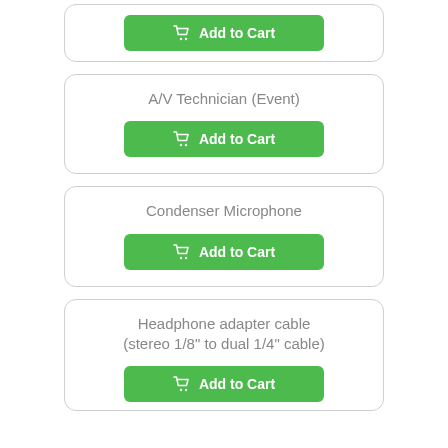[Figure (screenshot): Partial e-commerce card with green Add to Cart button at top of page]
A/V Technician (Event)
[Figure (screenshot): Green Add to Cart button with shopping cart icon]
Condenser Microphone
[Figure (screenshot): Green Add to Cart button with shopping cart icon]
Headphone adapter cable (stereo 1/8" to dual 1/4" cable)
[Figure (screenshot): Green Add to Cart button with shopping cart icon, partially visible at bottom]